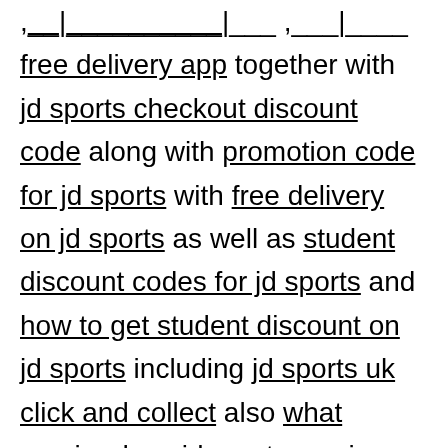, free delivery app together with jd sports checkout discount code along with promotion code for jd sports with free delivery on jd sports as well as student discount codes for jd sports and how to get student discount on jd sports including jd sports uk click and collect also what courier does jd sports use in ireland to discount code for jd